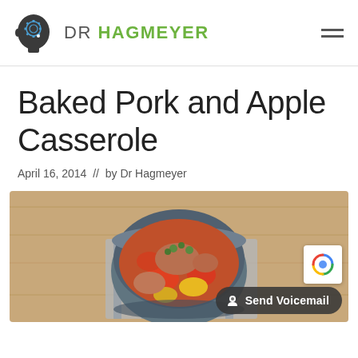DR HAGMEYER
Baked Pork and Apple Casserole
April 16, 2014  //  by Dr Hagmeyer
[Figure (photo): A bowl of baked pork and apple casserole with vegetables, served on a wooden table with a striped cloth napkin.]